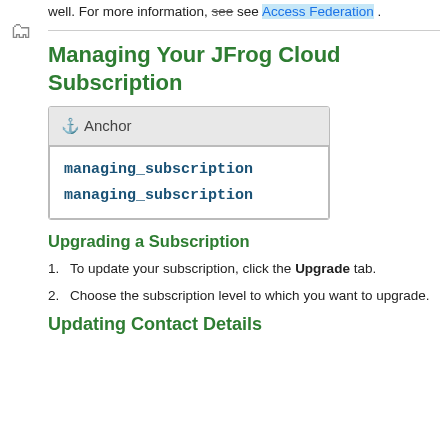well. For more information, see see Access Federation .
Managing Your JFrog Cloud Subscription
[Figure (other): Anchor box with anchor icon header and two monospace links: managing_subscription, managing_subscription]
Upgrading a Subscription
To update your subscription, click the Upgrade tab.
Choose the subscription level to which you want to upgrade.
Updating Contact Details